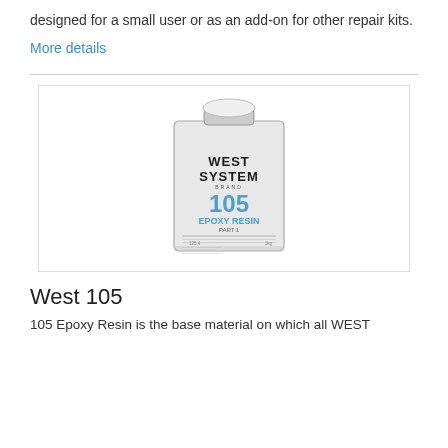designed for a small user or as an add-on for other repair kits.
More details
[Figure (photo): A tin can of WEST SYSTEM 105 Epoxy Resin, Part 1, with a white cap and light grey label showing the brand name and product details.]
West 105
105 Epoxy Resin is the base material on which all WEST